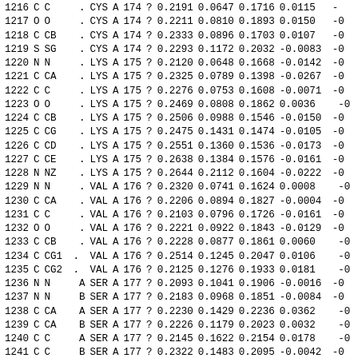| 1216 | C | C | . | CYS | A | 174 | ? | 0.2191 | 0.0647 | 0.1716 | 0.0115 | - |
| 1217 | O | O | . | CYS | A | 174 | ? | 0.2211 | 0.0810 | 0.1893 | 0.0150 | -0 |
| 1218 | C | CB | . | CYS | A | 174 | ? | 0.2333 | 0.0896 | 0.1703 | 0.0107 | -0 |
| 1219 | S | SG | . | CYS | A | 174 | ? | 0.2293 | 0.1172 | 0.2032 | -0.0083 | -0 |
| 1220 | N | N | . | LYS | A | 175 | ? | 0.2120 | 0.0648 | 0.1668 | -0.0142 | -0 |
| 1221 | C | CA | . | LYS | A | 175 | ? | 0.2325 | 0.0789 | 0.1398 | -0.0267 | -0 |
| 1222 | C | C | . | LYS | A | 175 | ? | 0.2276 | 0.0753 | 0.1608 | -0.0071 | -0 |
| 1223 | O | O | . | LYS | A | 175 | ? | 0.2469 | 0.0808 | 0.1862 | 0.0036 | -0 |
| 1224 | C | CB | . | LYS | A | 175 | ? | 0.2506 | 0.0988 | 0.1546 | -0.0150 | -0 |
| 1225 | C | CG | . | LYS | A | 175 | ? | 0.2475 | 0.1431 | 0.1474 | -0.0105 | -0 |
| 1226 | C | CD | . | LYS | A | 175 | ? | 0.2551 | 0.1360 | 0.1536 | -0.0173 | -0 |
| 1227 | C | CE | . | LYS | A | 175 | ? | 0.2638 | 0.1384 | 0.1576 | -0.0161 | -0 |
| 1228 | N | NZ | . | LYS | A | 175 | ? | 0.2644 | 0.2112 | 0.1604 | -0.0222 | -0 |
| 1229 | N | N | . | VAL | A | 176 | ? | 0.2320 | 0.0741 | 0.1624 | 0.0008 | -0 |
| 1230 | C | CA | . | VAL | A | 176 | ? | 0.2206 | 0.0894 | 0.1827 | -0.0004 | -0 |
| 1231 | C | C | . | VAL | A | 176 | ? | 0.2103 | 0.0796 | 0.1726 | -0.0161 | -0 |
| 1232 | O | O | . | VAL | A | 176 | ? | 0.2221 | 0.0922 | 0.1843 | -0.0129 | -0 |
| 1233 | C | CB | . | VAL | A | 176 | ? | 0.2228 | 0.0877 | 0.1861 | 0.0060 | -0 |
| 1234 | C | CG1 | . | VAL | A | 176 | ? | 0.2514 | 0.1245 | 0.2047 | 0.0106 | -0 |
| 1235 | C | CG2 | . | VAL | A | 176 | ? | 0.2125 | 0.1276 | 0.1933 | 0.0181 | -0 |
| 1236 | N | N | A | SER | A | 177 | ? | 0.2093 | 0.1041 | 0.1906 | -0.0016 | -0 |
| 1237 | N | N | B | SER | A | 177 | ? | 0.2183 | 0.0968 | 0.1851 | -0.0084 | -0 |
| 1238 | C | CA | A | SER | A | 177 | ? | 0.2230 | 0.1429 | 0.2236 | 0.0362 | -0 |
| 1239 | C | CA | B | SER | A | 177 | ? | 0.2226 | 0.1179 | 0.2023 | 0.0032 | -0 |
| 1240 | C | C | A | SER | A | 177 | ? | 0.2145 | 0.1622 | 0.2154 | 0.0178 | -0 |
| 1241 | C | C | B | SER | A | 177 | ? | 0.2322 | 0.1483 | 0.2095 | -0.0042 | -0 |
| 1242 | O | O | A | SER | A | 177 | ? | 0.2145 | 0.2284 | 0.2276 | 0.0260 | -0 |
| 1243 | O | O | B | SER | A | 177 | ? | 0.2359 | 0.1753 | 0.2161 | -0.0032 | 0 |
| 1244 | C | CB | A | SER | A | 177 | ? | 0.2297 | 0.2071 | 0.2533 | 0.0750 | -0 |
| 1245 | C | CB | B | SER | A | 177 | ? | 0.2129 | 0.1229 | 0.2034 | 0.0095 |  |